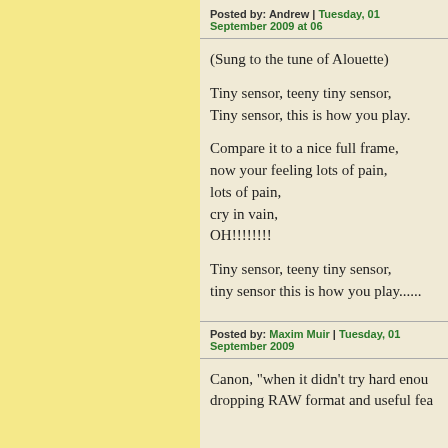Posted by: Andrew | Tuesday, 01 September 2009 at 06...
(Sung to the tune of Alouette)

Tiny sensor, teeny tiny sensor,
Tiny sensor, this is how you play.

Compare it to a nice full frame,
now your feeling lots of pain,
lots of pain,
cry in vain,
OH!!!!!!!!

Tiny sensor, teeny tiny sensor,
tiny sensor this is how you play......
Posted by: Maxim Muir | Tuesday, 01 September 2009...
Canon, "when it didn't try hard enou...
dropping RAW format and useful fea...